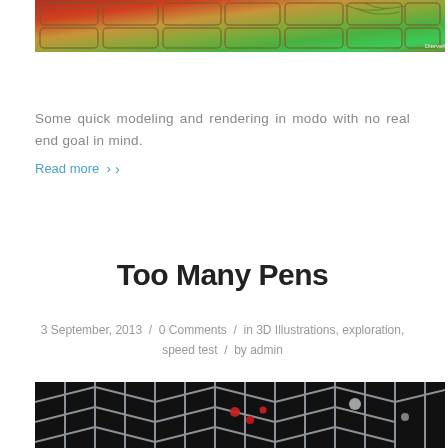[Figure (photo): Close-up photo of a colorful stained-glass or cell-like grid pattern with reds, oranges, yellows, and greens. Watermark 'DierveK' visible in bottom right.]
Some quick modeling and rendering in modo with no real end goal in mind.
Read more ›
Too Many Pens
3 September, 2013  /  0 Comments  /  in 3D Illustrations, exploration, speed test  /  by admin
[Figure (photo): Photo of a metallic 3D scaffold or lattice structure with silver tubes and small red and white spherical elements on a dark background.]